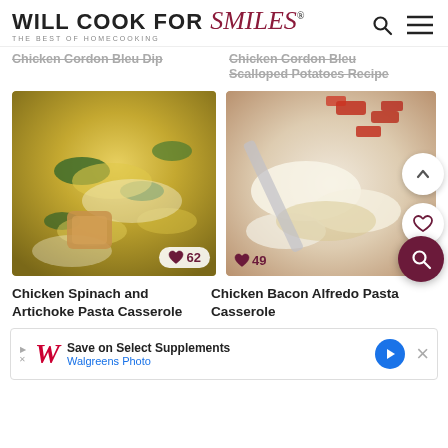WILL COOK FOR Smiles® THE BEST OF HOMECOOKING
Chicken Cordon Bleu Dip
Chicken Cordon Bleu Scalloped Potatoes Recipe
[Figure (photo): Close-up of Chicken Spinach and Artichoke Pasta Casserole with heart/like icon showing 62]
Chicken Spinach and Artichoke Pasta Casserole
[Figure (photo): Close-up of Chicken Bacon Alfredo Pasta Casserole with scroll-up button, save button, and search FAB, like icon showing 49]
Chicken Bacon Alfredo Pasta Casserole
Save on Select Supplements Walgreens Photo